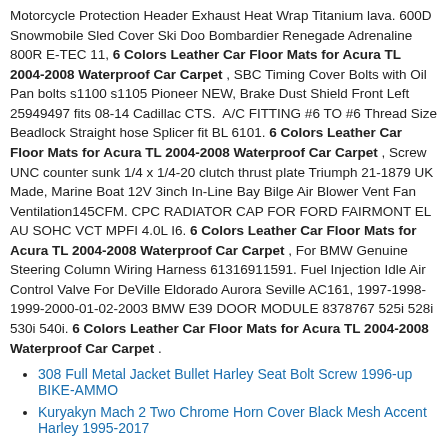Motorcycle Protection Header Exhaust Heat Wrap Titanium lava. 600D Snowmobile Sled Cover Ski Doo Bombardier Renegade Adrenaline 800R E-TEC 11, 6 Colors Leather Car Floor Mats for Acura TL 2004-2008 Waterproof Car Carpet , SBC Timing Cover Bolts with Oil Pan bolts s1100 s1105 Pioneer NEW, Brake Dust Shield Front Left 25949497 fits 08-14 Cadillac CTS. A/C FITTING #6 TO #6 Thread Size Beadlock Straight hose Splicer fit BL 6101. 6 Colors Leather Car Floor Mats for Acura TL 2004-2008 Waterproof Car Carpet , Screw UNC counter sunk 1/4 x 1/4-20 clutch thrust plate Triumph 21-1879 UK Made, Marine Boat 12V 3inch In-Line Bay Bilge Air Blower Vent Fan Ventilation145CFM. CPC RADIATOR CAP FOR FORD FAIRMONT EL AU SOHC VCT MPFI 4.0L I6. 6 Colors Leather Car Floor Mats for Acura TL 2004-2008 Waterproof Car Carpet , For BMW Genuine Steering Column Wiring Harness 61316911591. Fuel Injection Idle Air Control Valve For DeVille Eldorado Aurora Seville AC161, 1997-1998-1999-2000-01-02-2003 BMW E39 DOOR MODULE 8378767 525i 528i 530i 540i. 6 Colors Leather Car Floor Mats for Acura TL 2004-2008 Waterproof Car Carpet .
308 Full Metal Jacket Bullet Harley Seat Bolt Screw 1996-up BIKE-AMMO
Kuryakyn Mach 2 Two Chrome Horn Cover Black Mesh Accent Harley 1995-2017